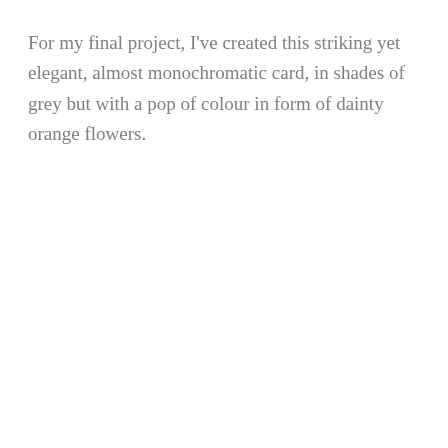For my final project, I've created this striking yet elegant, almost monochromatic card, in shades of grey but with a pop of colour in form of dainty orange flowers.